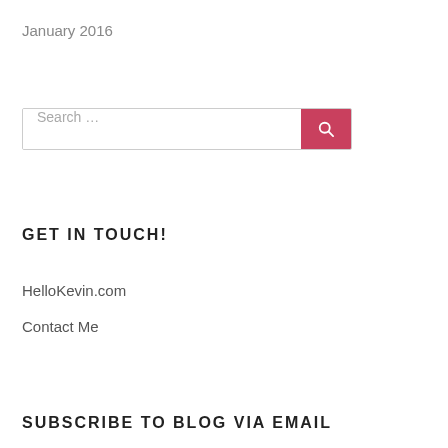January 2016
[Figure (other): Search bar with text input placeholder 'Search …' and a pink/red search button with magnifying glass icon]
GET IN TOUCH!
HelloKevin.com
Contact Me
SUBSCRIBE TO BLOG VIA EMAIL